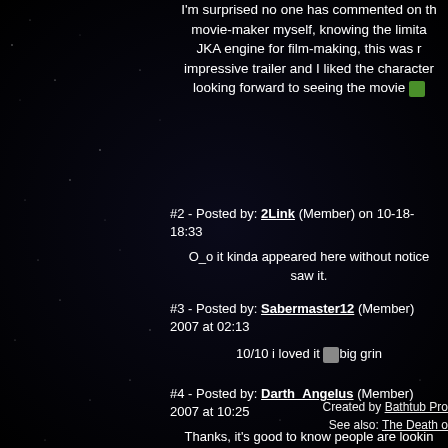I'm surprised no one has commented on th... movie-maker myself, knowing the limita... JKA engine for film-making, this was r... impressive trailer and I liked the character... looking forward to seeing the movie
#2 - Posted by: 2Link (Member) on 10-18-... 18:33
O_o it kinda appeared here without notice... saw it.
#3 - Posted by: Sabermaster12 (Member)... 2007 at 02:13
10/10 i loved it [big grin]
#4 - Posted by: Darth_Angelus (Member)... 2007 at 10:25
Thanks, it's good to know people are lookin... seeing the video. I've just submitted the fu... that should be appearing in a few days
Created by Bathtub Pro...
See also: The Death o...